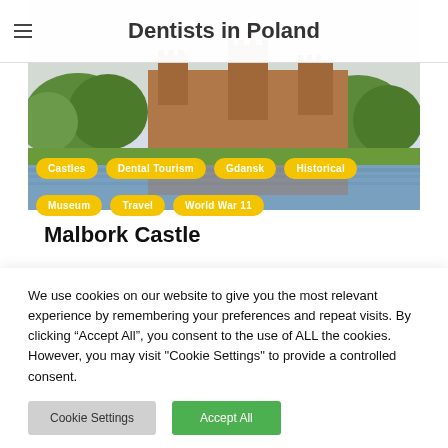Dentists in Poland
[Figure (photo): Malbork Castle reflected in river, surrounded by green trees, hero banner image]
Castles
Dental Tourism
Gdansk
Historical
Museum
Travel
World War 11
Malbork Castle
We use cookies on our website to give you the most relevant experience by remembering your preferences and repeat visits. By clicking “Accept All”, you consent to the use of ALL the cookies. However, you may visit "Cookie Settings" to provide a controlled consent.
Cookie Settings
Accept All